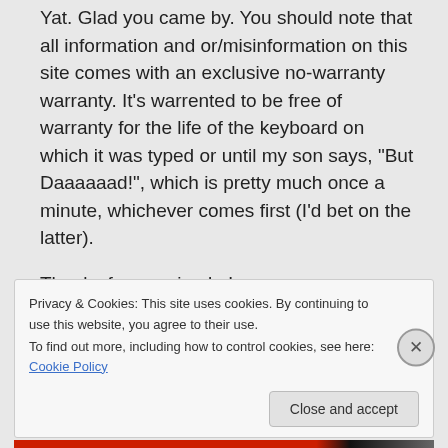Yat. Glad you came by. You should note that all information and or/misinformation on this site comes with an exclusive no-warranty warranty. It's warrented to be free of warranty for the life of the keyboard on which it was typed or until my son says, “But Daaaaaad!”, which is pretty much once a minute, whichever comes first (I’d bet on the latter).
Thanks for popping by!
Privacy & Cookies: This site uses cookies. By continuing to use this website, you agree to their use.
To find out more, including how to control cookies, see here: Cookie Policy
Close and accept